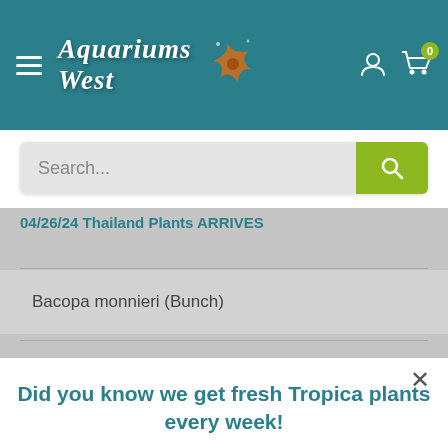[Figure (logo): Aquariums West logo with starfish illustration on teal navigation bar]
Search...
04/26/24 Thailand Plants ARRIVES
Bacopa monnieri (Bunch)
Did you know we get fresh Tropica plants every week!
To find out what's in store click here